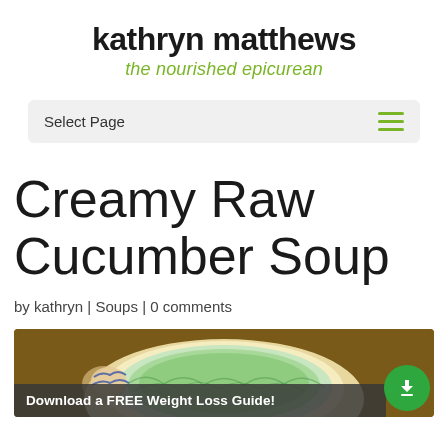kathryn matthews
the nourished epicurean
Select Page
Creamy Raw Cucumber Soup
by kathryn | Soups | 0 comments
[Figure (photo): Photo of a bowl of creamy green cucumber soup on a decorative plate, with a download banner overlay reading 'Download a FREE Weight Loss Guide!' and a green download button.]